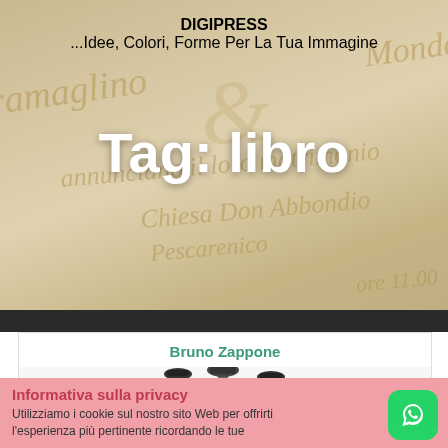DIGIPRESS
...Idee, Colori, Forme Per La Tua Immagine
Tag: libro
[Figure (photo): Background photo of a cream/beige wedding invitation card with calligraphic script text including 'Tramaglino', 'annunciano il loro matrimonio', 'Chiesa Don Abbondio', 'Pescarenico', 'ore 11,00']
[Figure (photo): Book cover preview showing 'Bruno Zappone' author name in teal/green and lamp post imagery on white background]
Informativa sulla privacy
Utilizziamo i cookie sul nostro sito Web per offrirti l'esperienza più pertinente ricordando le tue